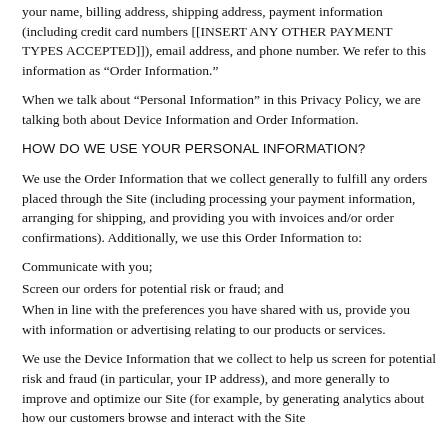your name, billing address, shipping address, payment information (including credit card numbers [[INSERT ANY OTHER PAYMENT TYPES ACCEPTED]]), email address, and phone number. We refer to this information as “Order Information.”
When we talk about “Personal Information” in this Privacy Policy, we are talking both about Device Information and Order Information.
HOW DO WE USE YOUR PERSONAL INFORMATION?
We use the Order Information that we collect generally to fulfill any orders placed through the Site (including processing your payment information, arranging for shipping, and providing you with invoices and/or order confirmations). Additionally, we use this Order Information to:
Communicate with you;
Screen our orders for potential risk or fraud; and
When in line with the preferences you have shared with us, provide you with information or advertising relating to our products or services.
We use the Device Information that we collect to help us screen for potential risk and fraud (in particular, your IP address), and more generally to improve and optimize our Site (for example, by generating analytics about how our customers browse and interact with the Site